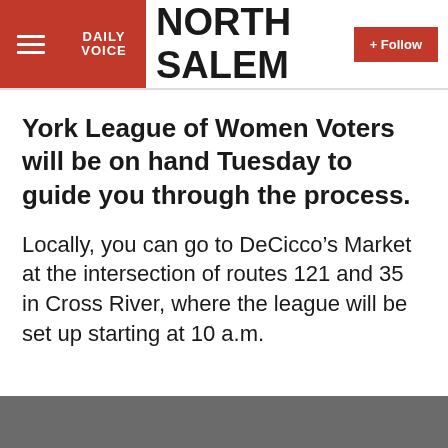DAILY VOICE | NORTH SALEM
York League of Women Voters will be on hand Tuesday to guide you through the process.
Locally, you can go to DeCicco’s Market at the intersection of routes 121 and 35 in Cross River, where the league will be set up starting at 10 a.m.